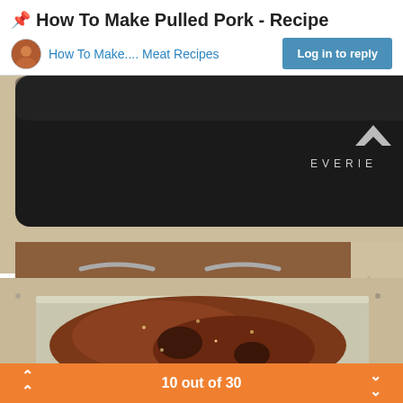📌 How To Make Pulled Pork - Recipe
How To Make.... Meat Recipes
[Figure (photo): A forum page showing two photos: top photo shows a black Everie slow cooker lid on a granite countertop next to wooden kitchen drawers; bottom photo shows seasoned pork in an aluminum foil tray on granite countertop.]
10 out of 30